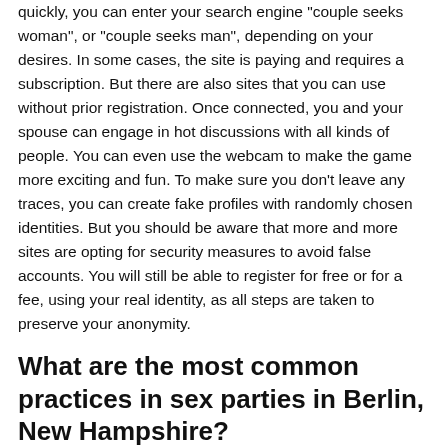quickly, you can enter your search engine "couple seeks woman", or "couple seeks man", depending on your desires. In some cases, the site is paying and requires a subscription. But there are also sites that you can use without prior registration. Once connected, you and your spouse can engage in hot discussions with all kinds of people. You can even use the webcam to make the game more exciting and fun. To make sure you don't leave any traces, you can create fake profiles with randomly chosen identities. But you should be aware that more and more sites are opting for security measures to avoid false accounts. You will still be able to register for free or for a fee, using your real identity, as all steps are taken to preserve your anonymity.
What are the most common practices in sex parties in Berlin, New Hampshire?
If you are new to swinging, you should probably ask yourself what are the most common practices in this area. First of all, you should know that to find a booty call or an ephemeral relationship of the libertine type, you should avoid going to a serious dating site. The best solution is rather to opt for sites offering good sex